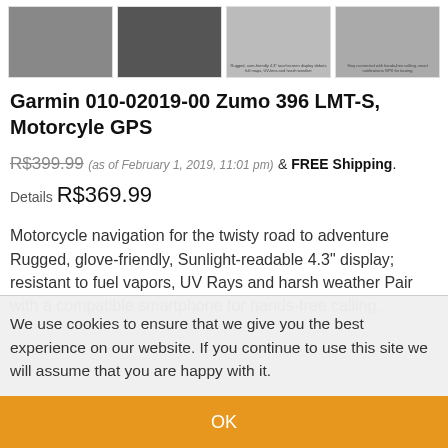[Figure (photo): Four product thumbnail images of the Garmin Zumo 396 GPS device shown from different angles]
Garmin 010-02019-00 Zumo 396 LMT-S, Motorcyle GPS
R$399.99 (as of February 1, 2019, 11:01 pm) & FREE Shipping. Details R$369.99
Motorcycle navigation for the twisty road to adventure Rugged, glove-friendly, Sunlight-readable 4.3" display; resistant to fuel vapors, UV Rays and harsh weather Pair with a compatible smartphone for hands-free calling,
We use cookies to ensure that we give you the best experience on our website. If you continue to use this site we will assume that you are happy with it.
OK